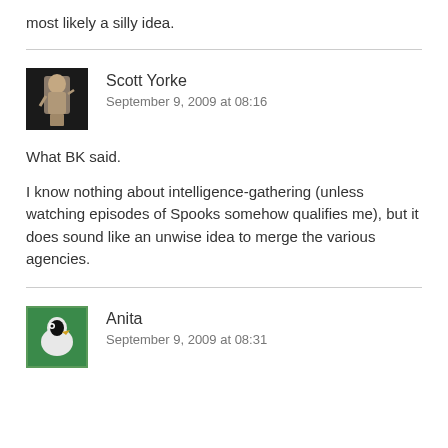most likely a silly idea.
Scott Yorke
September 9, 2009 at 08:16
What BK said.

I know nothing about intelligence-gathering (unless watching episodes of Spooks somehow qualifies me), but it does sound like an unwise idea to merge the various agencies.
Anita
September 9, 2009 at 08:31